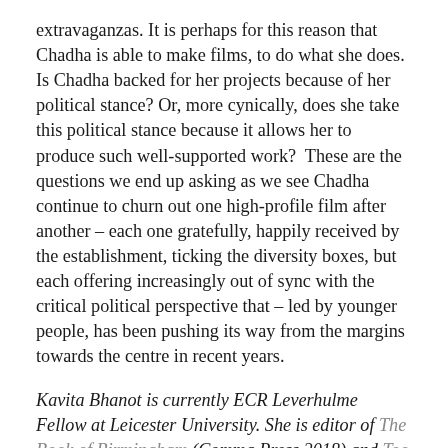extravaganzas. It is perhaps for this reason that Chadha is able to make films, to do what she does. Is Chadha backed for her projects because of her political stance? Or, more cynically, does she take this political stance because it allows her to produce such well-supported work?  These are the questions we end up asking as we see Chadha continue to churn out one high-profile film after another – each one gratefully, happily received by the establishment, ticking the diversity boxes, but each offering increasingly out of sync with the critical political perspective that – led by younger people, has been pushing its way from the margins towards the centre in recent years.
Kavita Bhanot is currently ECR Leverhulme Fellow at Leicester University. She is editor of The Book of Birmingham (Comma Press 2018) and Too Asian, Not Asian Enough (Tindal Street Press 2011) and co-editor